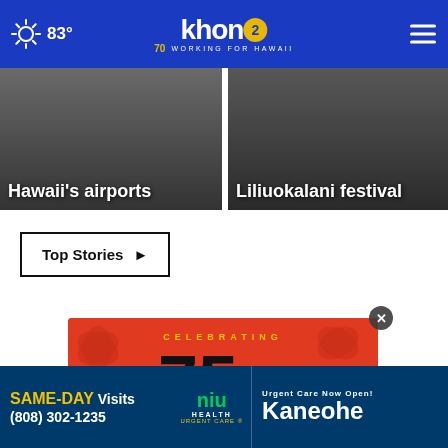83° khon2 WORKING FOR HAWAII 70 YEARS
[Figure (screenshot): News card: Hawaii's airports]
[Figure (screenshot): News card: Liliuokalani festival]
Top Stories ▶
[Figure (illustration): Celebrating 75 Years - Aloha Airlines anniversary graphic on red hibiscus background]
[Figure (illustration): Bottom advertisement: SAME-DAY Visits NIU Health Urgent Care Now Open! Kaneohe (808) 302-1235]